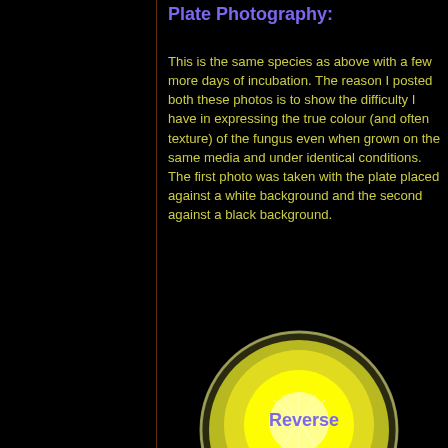Plate Photography:
This is the same species as above with a few more days of incubation. The reason I posted both these photos is to show the difficulty I have in expressing the true colour (and often texture) of the fungus even when grown on the same media and under identical conditions. The first photo was taken with the plate placed against a white background and the second against a black background.
[Figure (photo): Petri dish photographed against a black background showing yellow fungal colony with white radial patterns in the center. A label sticker is visible on the dish.]
Reverse